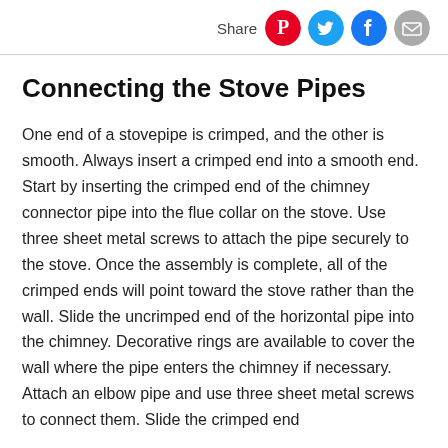Share
Connecting the Stove Pipes
One end of a stovepipe is crimped, and the other is smooth. Always insert a crimped end into a smooth end. Start by inserting the crimped end of the chimney connector pipe into the flue collar on the stove. Use three sheet metal screws to attach the pipe securely to the stove. Once the assembly is complete, all of the crimped ends will point toward the stove rather than the wall. Slide the uncrimped end of the horizontal pipe into the chimney. Decorative rings are available to cover the wall where the pipe enters the chimney if necessary. Attach an elbow pipe and use three sheet metal screws to connect them. Slide the crimped end